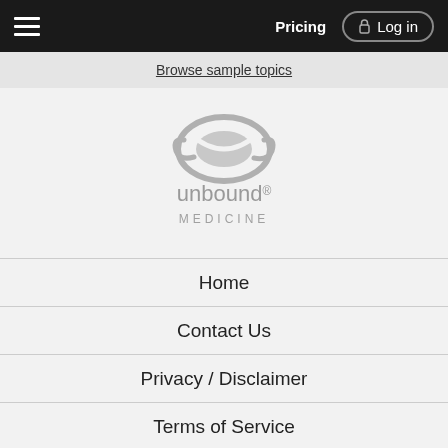Pricing  Log in
Browse sample topics
[Figure (logo): Unbound Medicine logo — stylized oval swoosh in gray above the text 'unbound® MEDICINE' in gray sans-serif lettering]
Home
Contact Us
Privacy / Disclaimer
Terms of Service
Log in